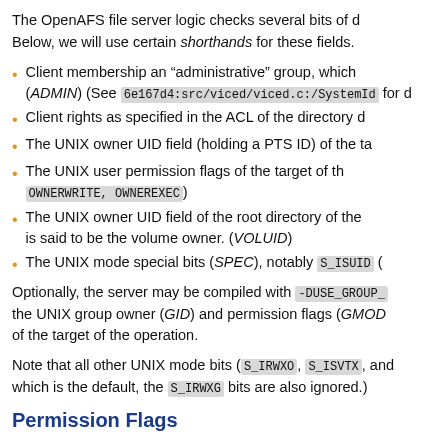The OpenAFS file server logic checks several bits of d... Below, we will use certain shorthands for these fields.
Client membership an “administrative” group, which (ADMIN) (See 6e167d4:src/viced/viced.c:/SystemId for d...
Client rights as specified in the ACL of the directory d...
The UNIX owner UID field (holding a PTS ID) of the ta...
The UNIX user permission flags of the target of th... OWNERWRITE, OWNEREXEC)
The UNIX owner UID field of the root directory of the... is said to be the volume owner. (VOLUID)
The UNIX mode special bits (SPEC), notably s_ISUID (...
Optionally, the server may be compiled with -DUSE_GROUP_... the UNIX group owner (GID) and permission flags (GMOD... of the target of the operation.
Note that all other UNIX mode bits (s_IRWXO, s_ISVTX, and... which is the default, the s_IRWXG bits are also ignored.)
Permission Flags